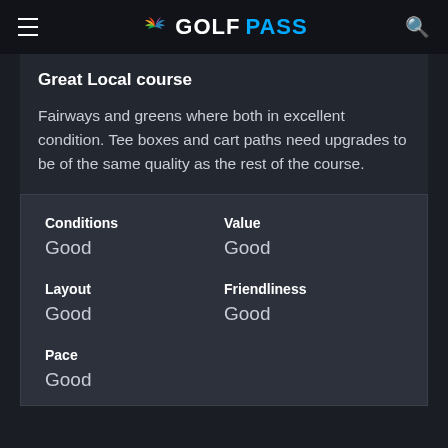GOLFPASS
Great Local course
Fairways and greens where both in excellent condition. Tee boxes and cart paths need upgrades to be of the same quality as the rest of the course.
| Conditions | Value | Layout | Friendliness | Pace |
| --- | --- | --- | --- | --- |
| Good | Good |
| Good | Good |
| Good |  |